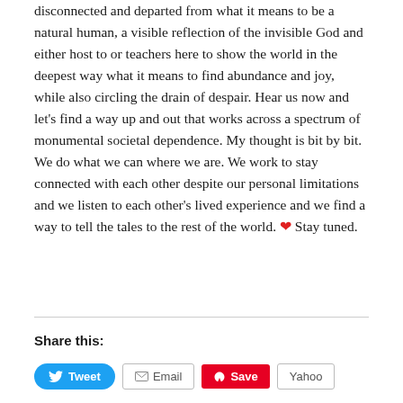disconnected and departed from what it means to be a natural human, a visible reflection of the invisible God and either host to or teachers here to show the world in the deepest way what it means to find abundance and joy, while also circling the drain of despair. Hear us now and let's find a way up and out that works across a spectrum of monumental societal dependence. My thought is bit by bit. We do what we can where we are. We work to stay connected with each other despite our personal limitations and we listen to each other's lived experience and we find a way to tell the tales to the rest of the world. ❤ Stay tuned.
Share this:
Tweet
Email
Save
Yahoo